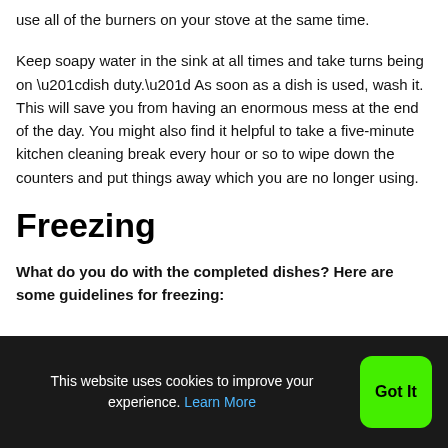use all of the burners on your stove at the same time.
Keep soapy water in the sink at all times and take turns being on “dish duty.” As soon as a dish is used, wash it. This will save you from having an enormous mess at the end of the day. You might also find it helpful to take a five-minute kitchen cleaning break every hour or so to wipe down the counters and put things away which you are no longer using.
Freezing
What do you do with the completed dishes? Here are some guidelines for freezing:
This website uses cookies to improve your experience. Learn More  Got It